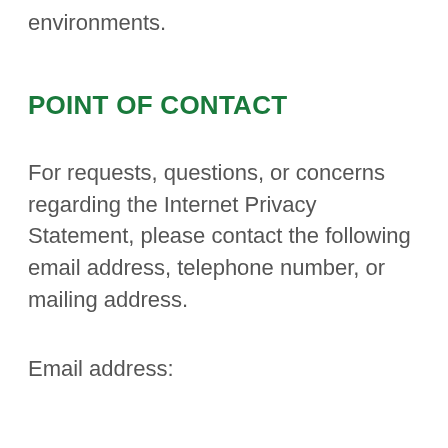environments.
POINT OF CONTACT
For requests, questions, or concerns regarding the Internet Privacy Statement, please contact the following email address, telephone number, or mailing address.
Email address: